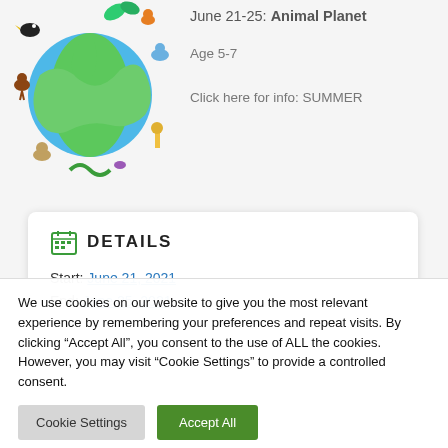[Figure (illustration): Colorful cartoon illustration of animals and globe for Animal Planet summer camp]
June 21-25: Animal Planet
Age 5-7
Click here for info: SUMMER
DETAILS
Start: June 21, 2021
End: June 25, 2021
We use cookies on our website to give you the most relevant experience by remembering your preferences and repeat visits. By clicking “Accept All”, you consent to the use of ALL the cookies. However, you may visit "Cookie Settings" to provide a controlled consent.